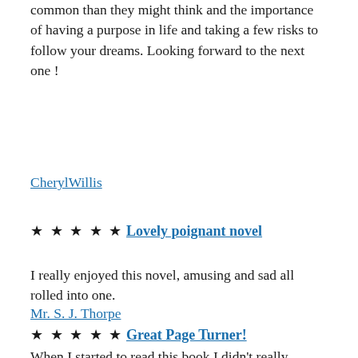common than they might think and the importance of having a purpose in life and taking a few risks to follow your dreams. Looking forward to the next one !
CherylWillis
★★★★★ Lovely poignant novel
I really enjoyed this novel, amusing and sad all rolled into one.
Mr. S. J. Thorpe
★★★★★ Great Page Turner!
When I started to read this book I didn't really